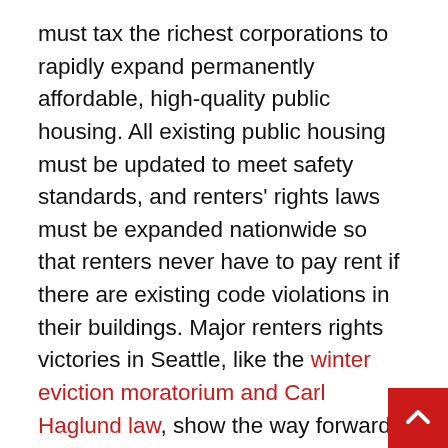must tax the richest corporations to rapidly expand permanently affordable, high-quality public housing. All existing public housing must be updated to meet safety standards, and renters' rights laws must be expanded nationwide so that renters never have to pay rent if there are existing code violations in their buildings. Major renters rights victories in Seattle, like the winter eviction moratorium and Carl Haglund law, show the way forward to win such improvements elsewhere.
Developer sharks like Camber should at the very least pay immediate damages for all Twin Parks North West tenants. But even that won't prevent